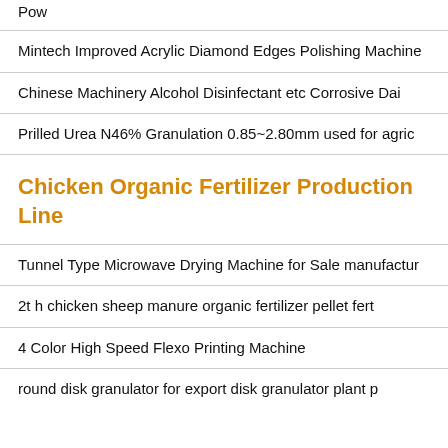Pow
Mintech Improved Acrylic Diamond Edges Polishing Machine
Chinese Machinery Alcohol Disinfectant etc Corrosive Dai
Prilled Urea N46% Granulation 0.85~2.80mm used for agric
Chicken Organic Fertilizer Production Line
Tunnel Type Microwave Drying Machine for Sale manufactur
2t h chicken sheep manure organic fertilizer pellet fert
4 Color High Speed Flexo Printing Machine
round disk granulator for export disk granulator plant p